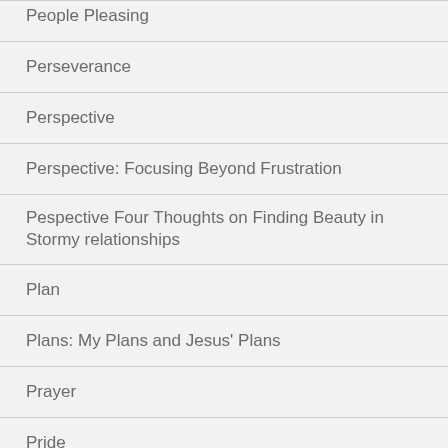People Pleasing
Perseverance
Perspective
Perspective: Focusing Beyond Frustration
Pespective Four Thoughts on Finding Beauty in Stormy relationships
Plan
Plans: My Plans and Jesus' Plans
Prayer
Pride